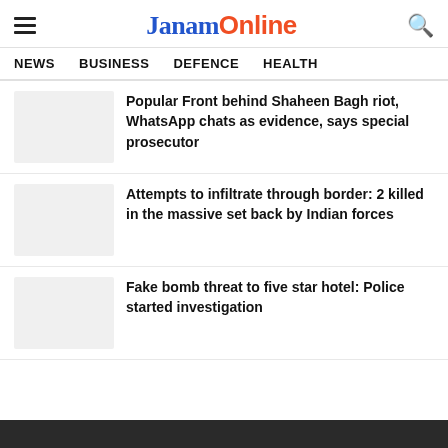JanamOnline
NEWS   BUSINESS   DEFENCE   HEALTH
Popular Front behind Shaheen Bagh riot, WhatsApp chats as evidence, says special prosecutor
Attempts to infiltrate through border: 2 killed in the massive set back by Indian forces
Fake bomb threat to five star hotel: Police started investigation